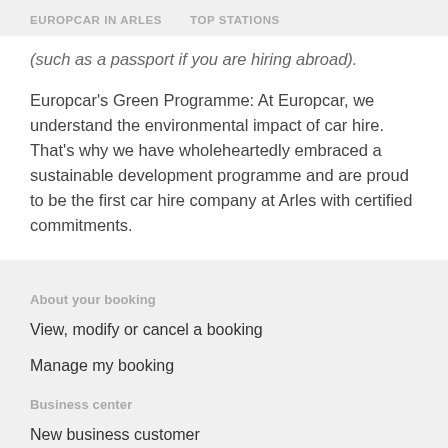EUROPCAR IN ARLES    TOP STATIONS
(such as a passport if you are hiring abroad).
Europcar's Green Programme: At Europcar, we understand the environmental impact of car hire. That's why we have wholeheartedly embraced a sustainable development programme and are proud to be the first car hire company at Arles with certified commitments.
About your booking
View, modify or cancel a booking
Manage my booking
Business center
New business customer
More information